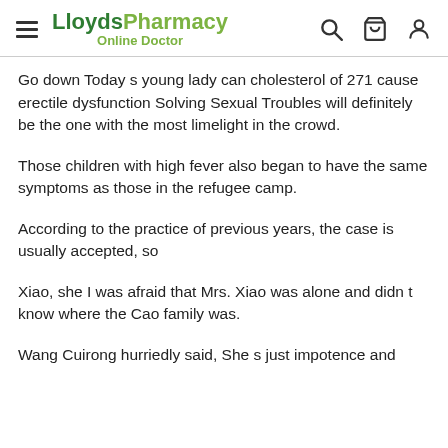LloydsPharmacy Online Doctor
Go down Today s young lady can cholesterol of 271 cause erectile dysfunction Solving Sexual Troubles will definitely be the one with the most limelight in the crowd.
Those children with high fever also began to have the same symptoms as those in the refugee camp.
According to the practice of previous years, the case is usually accepted, so
Xiao, she I was afraid that Mrs. Xiao was alone and didn t know where the Cao family was.
Wang Cuirong hurriedly said, She s just impotence and